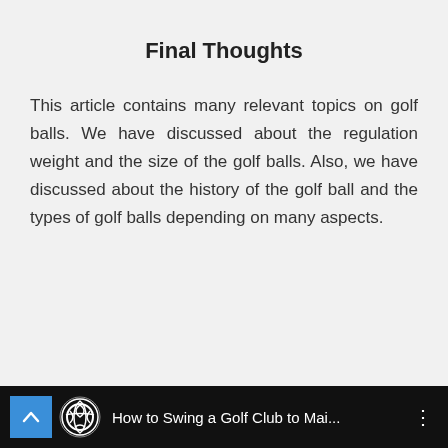Final Thoughts
This article contains many relevant topics on golf balls. We have discussed about the regulation weight and the size of the golf balls. Also, we have discussed about the history of the golf ball and the types of golf balls depending on many aspects.
[Figure (screenshot): A video player bar at the bottom with black background, a blue up-arrow button, a circular golf logo, the title 'How to Swing a Golf Club to Mai...' in white text, and a three-dot menu icon on the right.]